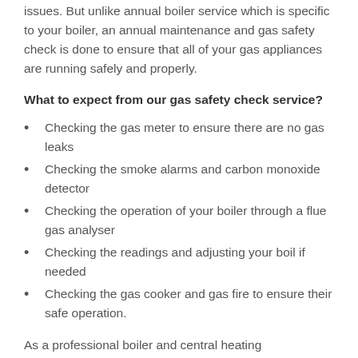issues. But unlike annual boiler service which is specific to your boiler, an annual maintenance and gas safety check is done to ensure that all of your gas appliances are running safely and properly.
What to expect from our gas safety check service?
Checking the gas meter to ensure there are no gas leaks
Checking the smoke alarms and carbon monoxide detector
Checking the operation of your boiler through a flue gas analyser
Checking the readings and adjusting your boil if needed
Checking the gas cooker and gas fire to ensure their safe operation.
As a professional boiler and central heating